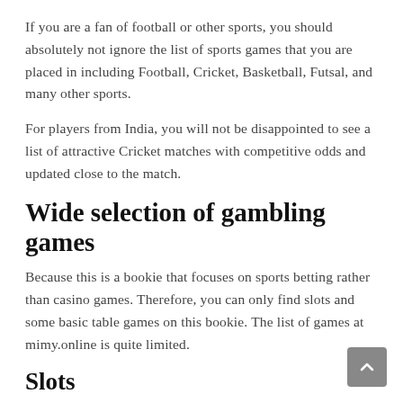If you are a fan of football or other sports, you should absolutely not ignore the list of sports games that you are placed in including Football, Cricket, Basketball, Futsal, and many other sports.
For players from India, you will not be disappointed to see a list of attractive Cricket matches with competitive odds and updated close to the match.
Wide selection of gambling games
Because this is a bookie that focuses on sports betting rather than casino games. Therefore, you can only find slots and some basic table games on this bookie. The list of games at mimy.online is quite limited.
Slots
There are only more than 36 title slots you can play at this house. And the playlist is quite messy, we see in the slot catalog there are also table games. This is where we are quite disappointed. But because casino games are not the